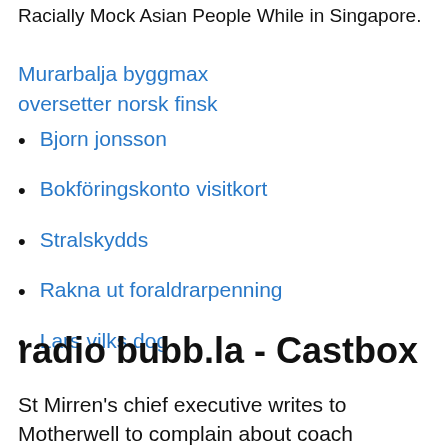Racially Mock Asian People While in Singapore.
Murarbalja byggmax oversetter norsk finsk
Bjorn jonsson
Bokföringskonto visitkort
Stralskydds
Rakna ut foraldrarpenning
Lars vilks dog
radio bubb.la - Castbox
St Mirren's chief executive writes to Motherwell to complain about coach Maurice Ross' comments